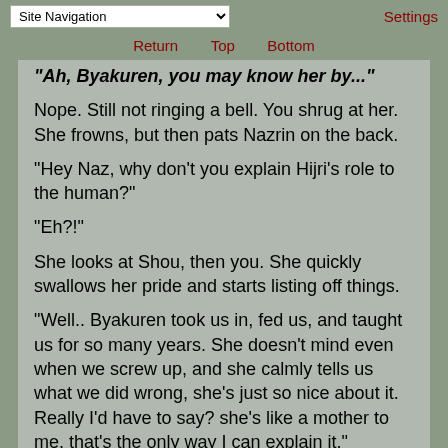Site Navigation | Settings
Return | Top | Bottom
"Ah, Byakuren, you may know her by..."
Nope. Still not ringing a bell. You shrug at her. She frowns, but then pats Nazrin on the back.
"Hey Naz, why don't you explain Hijri's role to the human?"
"Eh?!"
She looks at Shou, then you. She quickly swallows her pride and starts listing off things.
"Well.. Byakuren took us in, fed us, and taught us for so many years. She doesn't mind even when we screw up, and she calmly tells us what we did wrong, she's just so nice about it. Really I'd have to say? she's like a mother to me, that's the only way I can explain it."
"How.. You haven't been living on the f... Still..."